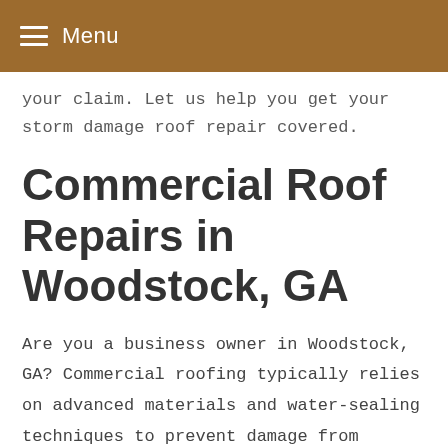Menu
your claim. Let us help you get your storm damage roof repair covered.
Commercial Roof Repairs in Woodstock, GA
Are you a business owner in Woodstock, GA? Commercial roofing typically relies on advanced materials and water-sealing techniques to prevent damage from storms. Even so, the most resilient